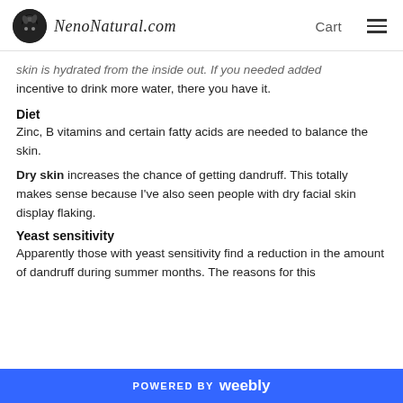NenoNatural.com  Cart
skin is hydrated from the inside out. If you needed added incentive to drink more water, there you have it.
Diet
Zinc, B vitamins and certain fatty acids are needed to balance the skin.
Dry skin increases the chance of getting dandruff. This totally makes sense because I've also seen people with dry facial skin display flaking.
Yeast sensitivity
Apparently those with yeast sensitivity find a reduction in the amount of dandruff during summer months. The reasons for this
POWERED BY weebly